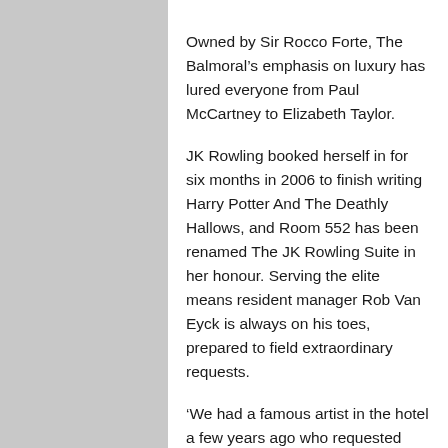Owned by Sir Rocco Forte, The Balmoral’s emphasis on luxury has lured everyone from Paul McCartney to Elizabeth Taylor.
JK Rowling booked herself in for six months in 2006 to finish writing Harry Potter And The Deathly Hallows, and Room 552 has been renamed The JK Rowling Suite in her honour. Serving the elite means resident manager Rob Van Eyck is always on his toes, prepared to field extraordinary requests.
‘We had a famous artist in the hotel a few years ago who requested that we ask the council to stop the daily one